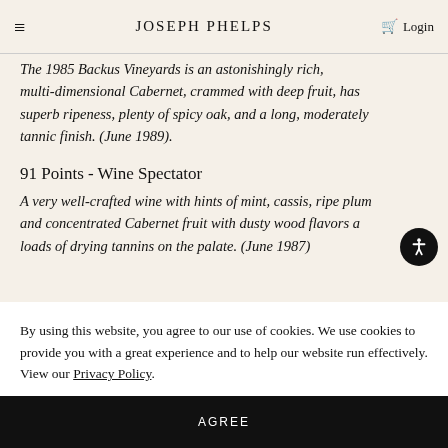Joseph Phelps — Login
The 1985 Backus Vineyards is an astonishingly rich, multi-dimensional Cabernet, crammed with deep fruit, has superb ripeness, plenty of spicy oak, and a long, moderately tannic finish. (June 1989).
91 Points - Wine Spectator
A very well-crafted wine with hints of mint, cassis, ripe plum and concentrated Cabernet fruit with dusty wood flavors and loads of drying tannins on the palate. (June 1987)
By using this website, you agree to our use of cookies. We use cookies to provide you with a great experience and to help our website run effectively. View our Privacy Policy.
AGREE